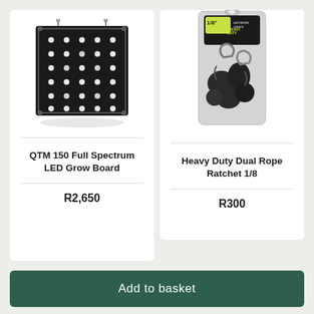[Figure (photo): QTM 150 Full Spectrum LED Grow Board product photo - rectangular black LED panel with white LEDs arranged in a grid pattern]
QTM 150 Full Spectrum LED Grow Board
R2,650
[Figure (photo): Heavy Duty Dual Rope Ratchet 1/8 product photo - packaged black rope ratchet hangers in clear plastic bag with green/yellow label]
Heavy Duty Dual Rope Ratchet 1/8
R300
Add to basket